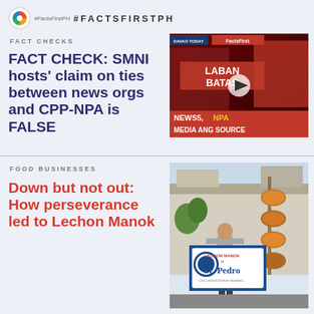#FactsFirstPH  #FACTSFIRSTPH
FACT CHECKS
FACT CHECK: SMNI hosts' claim on ties between news orgs and CPP-NPA is FALSE
[Figure (screenshot): Video thumbnail showing two TV hosts with text overlay NEWS5, NPA MEDIA ANG SOURCE and FactsFirstPH logo, with a play button]
FOOD BUSINESSES
Down but not out: How perseverance led to Lechon Manok
[Figure (photo): Photo of a man standing in front of a Lechon Manok Sr. Pedro restaurant sign with roasted chicken on a spit]